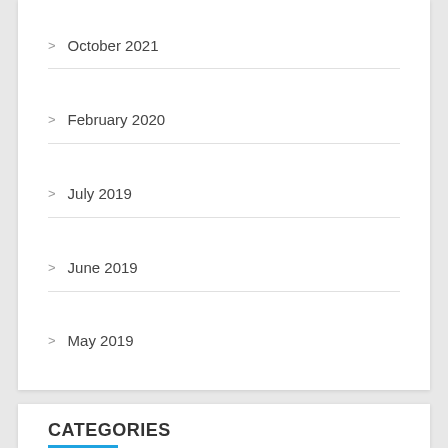October 2021
February 2020
July 2019
June 2019
May 2019
CATEGORIES